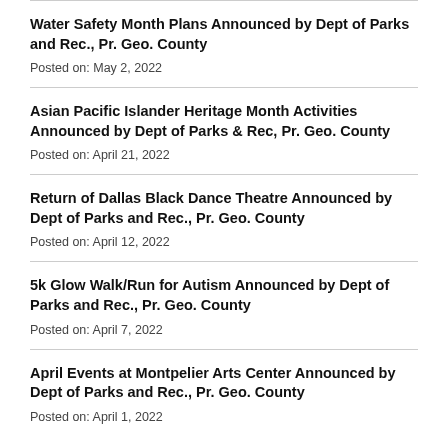Water Safety Month Plans Announced by Dept of Parks and Rec., Pr. Geo. County
Posted on: May 2, 2022
Asian Pacific Islander Heritage Month Activities Announced by Dept of Parks & Rec, Pr. Geo. County
Posted on: April 21, 2022
Return of Dallas Black Dance Theatre Announced by Dept of Parks and Rec., Pr. Geo. County
Posted on: April 12, 2022
5k Glow Walk/Run for Autism Announced by Dept of Parks and Rec., Pr. Geo. County
Posted on: April 7, 2022
April Events at Montpelier Arts Center Announced by Dept of Parks and Rec., Pr. Geo. County
Posted on: April 1, 2022